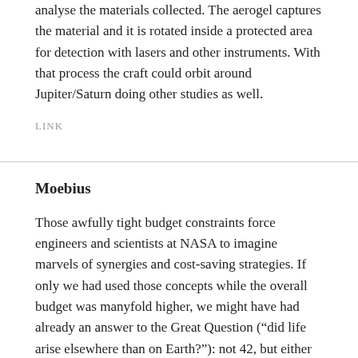analyse the materials collected. The aerogel captures the material and it is rotated inside a protected area for detection with lasers and other instruments. With that process the craft could orbit around Jupiter/Saturn doing other studies as well.
LINK
Moebius
Those awfully tight budget constraints force engineers and scientists at NASA to imagine marvels of synergies and cost-saving strategies. If only we had used those concepts while the overall budget was manyfold higher, we might have had already an answer to the Great Question (“did life arise elsewhere than on Earth?”): not 42, but either “yes”, or “probably it didn’t arise twice in this solar system”.